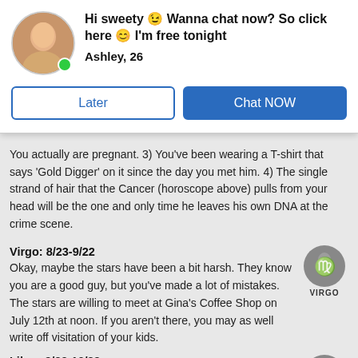[Figure (other): Chat popup with profile photo of Ashley, 26. Shows headline 'Hi sweety 😉 Wanna chat now? So click here 😊 I'm free tonight' and two buttons: 'Later' and 'Chat NOW'.]
You actually are pregnant. 3) You've been wearing a T-shirt that says 'Gold Digger' on it since the day you met him. 4) The single strand of hair that the Cancer (horoscope above) pulls from your head will be the one and only time he leaves his own DNA at the crime scene.
Virgo: 8/23-9/22
Okay, maybe the stars have been a bit harsh. They know you are a good guy, but you've made a lot of mistakes. The stars are willing to meet at Gina's Coffee Shop on July 12th at noon. If you aren't there, you may as well write off visitation of your kids.
Libra: 9/23-10/22
98% That is the specific number you will give your wife before you jump out of the plane. That optimistic chance of